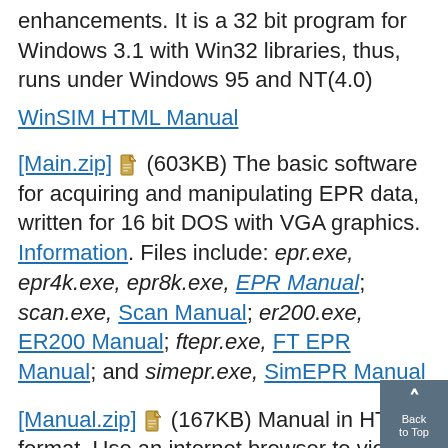enhancements. It is a 32 bit program for Windows 3.1 with Win32 libraries, thus, runs under Windows 95 and NT(4.0)
WinSIM HTML Manual
[Main.zip] 🗎 (603KB) The basic software for acquiring and manipulating EPR data, written for 16 bit DOS with VGA graphics. Information. Files include: epr.exe, epr4k.exe, epr8k.exe, EPR Manual; scan.exe, Scan Manual; er200.exe, ER200 Manual; ftepr.exe, FT EPR Manual; and simepr.exe, SimEPR Manual
[Manual.zip] 🗎 (167KB) Manual in HTML format. Use an internet browser to view the contents. Note that the manual archive contains LONG filenames and must be un-packed with INFOZIP's UNZIIP or WINZIP-95. Failure to do so will result